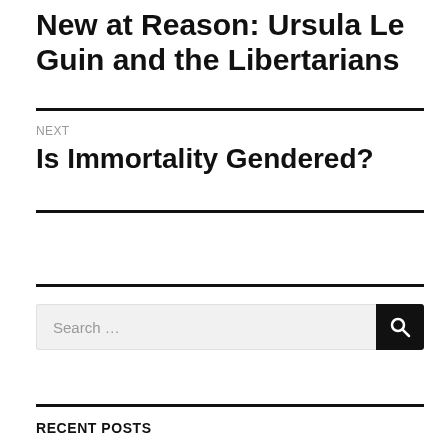New at Reason: Ursula Le Guin and the Libertarians
NEXT
Is Immortality Gendered?
RECENT POSTS